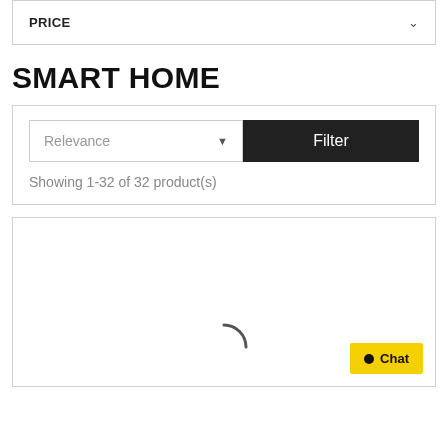PRICE
SMART HOME
Relevance
Filter
Showing 1-32 of 32 product(s)
[Figure (screenshot): Product image area with loading spinner (partial arc) visible at bottom center, and a yellow Chat button with black dot at bottom right]
Chat